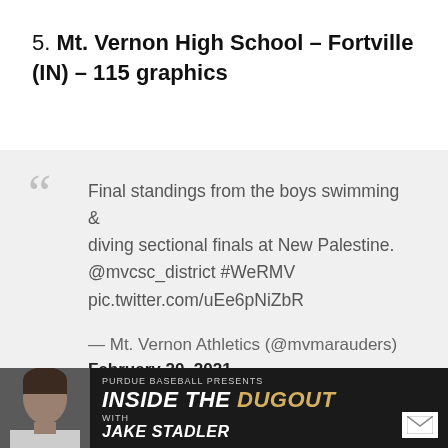5. Mt. Vernon High School – Fortville (IN) – 115 graphics
Final standings from the boys swimming & diving sectional finals at New Palestine. @mvcsc_district #WeRMV pic.twitter.com/uEe6pNiZbR

— Mt. Vernon Athletics (@mvmarauders) February 20, 2021
[Figure (photo): Bottom banner image showing a person's photo on the left and text 'PURDUE BASEBALL PRESENTS INSIDE THE DUGOUT WITH JAKE STADLER' on a dark background with gold lettering]